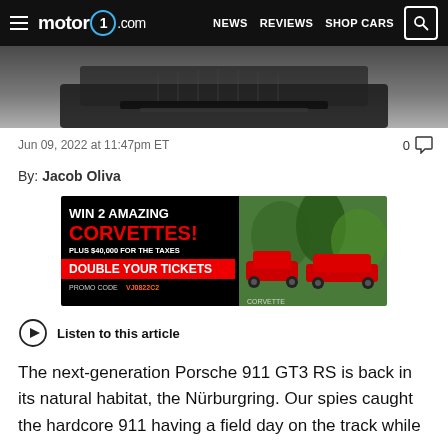motor1.com — NEWS  REVIEWS  SHOP CARS
[Figure (photo): Close-up of a dark car's front splitter/grille area on a grey background]
Jun 09, 2022 at 11:47pm ET
0 comments
By: Jacob Oliva
[Figure (infographic): Advertisement banner: WIN 2 AMAZING CORVETTES! PLUS $40,000 FOR THE TAXES. DOUBLE YOUR TICKETS. PROMO CODE VJ0822C2. Shows two red Corvette cars on a green background.]
Listen to this article
The next-generation Porsche 911 GT3 RS is back in its natural habitat, the Nürburgring. Our spies caught the hardcore 911 having a field day on the track while